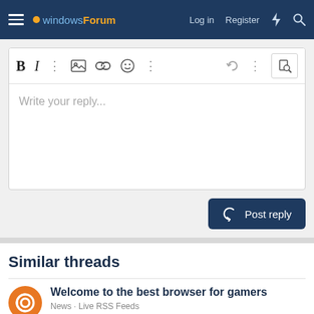windowsForum — Log in | Register
[Figure (screenshot): Rich text editor toolbar with Bold, Italic, more options, image, link, emoji, undo, and file buttons. Text area shows placeholder 'Write your reply...']
Write your reply...
Post reply
Similar threads
Welcome to the best browser for gamers
News · Live RSS Feeds
Replies: 0 · Jun 23, 2022
Gaming opens doors to hosting and streaming for OMEN Squad's CupAhNoodle